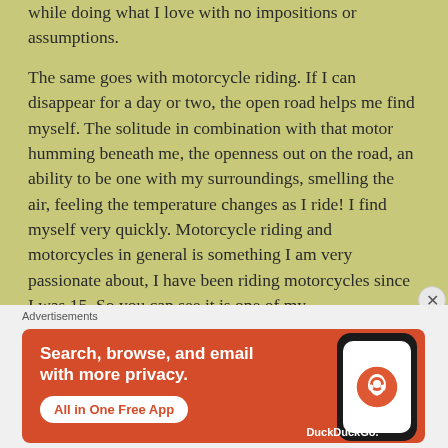while doing what I love with no impositions or assumptions.
The same goes with motorcycle riding. If I can disappear for a day or two, the open road helps me find myself. The solitude in combination with that motor humming beneath me, the openness out on the road, an ability to be one with my surroundings, smelling the air, feeling the temperature changes as I ride! I find myself very quickly. Motorcycle riding and motorcycles in general is something I am very passionate about, I have been riding motorcycles since I was 15. So you can see it is one of my
[Figure (other): DuckDuckGo advertisement banner with orange background. Text reads: 'Search, browse, and email with more privacy. All in One Free App'. Shows a phone with DuckDuckGo logo.]